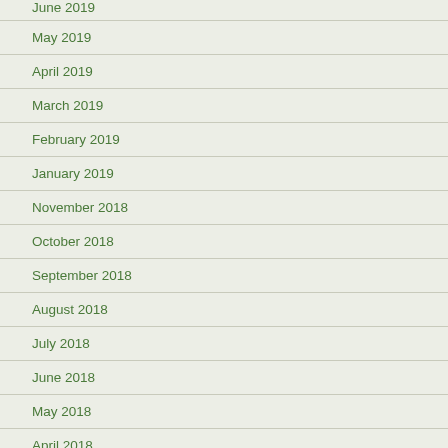June 2019
May 2019
April 2019
March 2019
February 2019
January 2019
November 2018
October 2018
September 2018
August 2018
July 2018
June 2018
May 2018
April 2018
March 2018